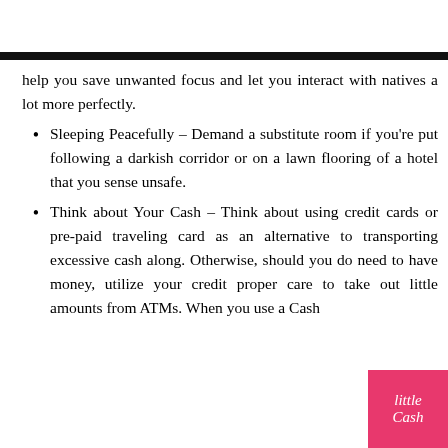help you save unwanted focus and let you interact with natives a lot more perfectly.
Sleeping Peacefully – Demand a substitute room if you're put following a darkish corridor or on a lawn flooring of a hotel that you sense unsafe.
Think about Your Cash – Think about using credit cards or pre-paid traveling card as an alternative to transporting excessive cash along. Otherwise, should you do need to have money, utilize your credit proper care to take out little amounts from ATMs. When you use a Cash